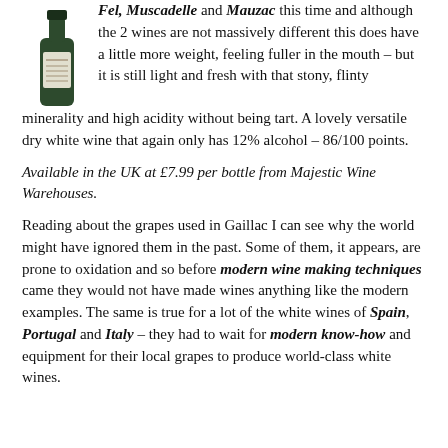[Figure (illustration): A dark green wine bottle with a label, shown partially cropped at the top left of the page.]
Fel, Muscadelle and Mauzac this time and although the 2 wines are not massively different this does have a little more weight, feeling fuller in the mouth – but it is still light and fresh with that stony, flinty minerality and high acidity without being tart. A lovely versatile dry white wine that again only has 12% alcohol – 86/100 points.
Available in the UK at £7.99 per bottle from Majestic Wine Warehouses.
Reading about the grapes used in Gaillac I can see why the world might have ignored them in the past. Some of them, it appears, are prone to oxidation and so before modern wine making techniques came they would not have made wines anything like the modern examples. The same is true for a lot of the white wines of Spain, Portugal and Italy – they had to wait for modern know-how and equipment for their local grapes to produce world-class white wines.